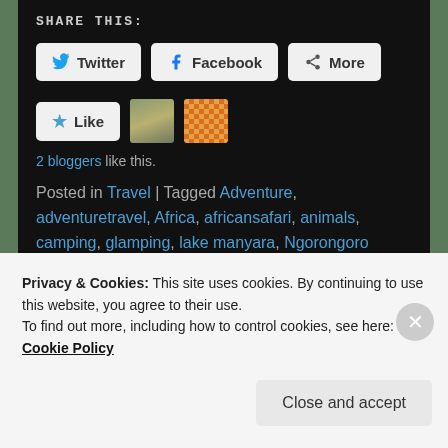SHARE THIS:
Twitter | Facebook | More
Like | 2 bloggers like this.
Posted in Travel | Tagged Adventure, adventuretravel, Africa, africansafari, animals, camping, glamping, lake manyara, Ngorongoro Crater, safari, Serengeti, Tanzania, travel, travelers, wanderlust, weekendwanderlust, wildebeest migration | Leave a reply
Privacy & Cookies: This site uses cookies. By continuing to use this website, you agree to their use.
To find out more, including how to control cookies, see here: Cookie Policy
Close and accept